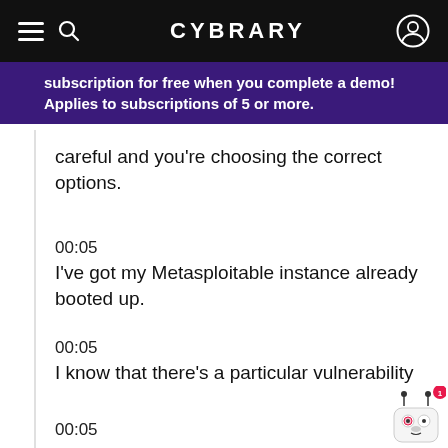CYBRARY
subscription for free when you complete a demo! Applies to subscriptions of 5 or more.
careful and you're choosing the correct options.
00:05
I've got my Metasploitable instance already booted up.
00:05
I know that there's a particular vulnerability
00:05
which I'm just going to exploit really quickly.